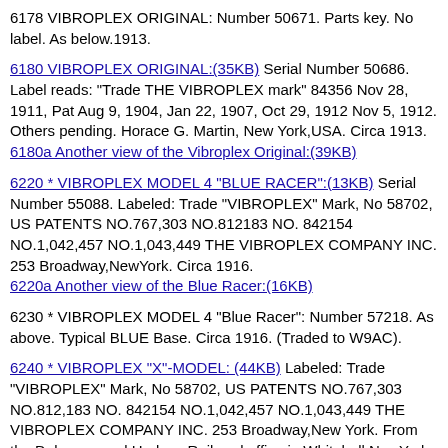6178 VIBROPLEX ORIGINAL: Number 50671. Parts key. No label. As below.1913.
6180 VIBROPLEX ORIGINAL:(35KB) Serial Number 50686. Label reads: "Trade THE VIBROPLEX mark" 84356 Nov 28, 1911, Pat Aug 9, 1904, Jan 22, 1907, Oct 29, 1912 Nov 5, 1912. Others pending. Horace G. Martin, New York,USA. Circa 1913.
6180a Another view of the Vibroplex Original:(39KB)
6220 * VIBROPLEX MODEL 4 "BLUE RACER":(13KB) Serial Number 55088. Labeled: Trade "VIBROPLEX" Mark, No 58702, US PATENTS NO.767,303 NO.812183 NO. 842154 NO.1,042,457 NO.1,043,449 THE VIBROPLEX COMPANY INC. 253 Broadway,NewYork. Circa 1916.
6220a Another view of the Blue Racer:(16KB)
6230 * VIBROPLEX MODEL 4 "Blue Racer": Number 57218. As above. Typical BLUE Base. Circa 1916. (Traded to W9AC).
6240 * VIBROPLEX "X"-MODEL: (44KB) Labeled: Trade "VIBROPLEX" Mark, No 58702, US PATENTS NO.767,303 NO.812,183 NO. 842154 NO.1,042,457 NO.1,043,449 THE VIBROPLEX COMPANY INC. 253 Broadway,New York. From the Delaware and Hudson Railroad office in Whitehall NewYork. Shows wear from heavy use. Circa 1917.